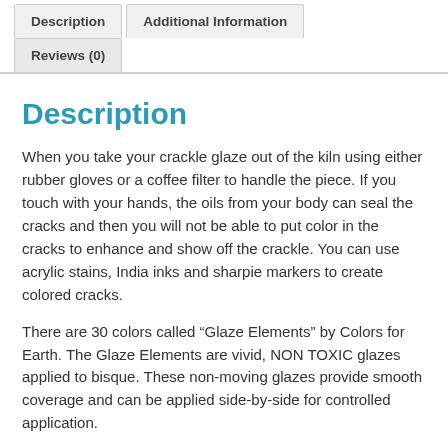Description | Additional Information | Reviews (0)
Description
When you take your crackle glaze out of the kiln using either rubber gloves or a coffee filter to handle the piece.  If you touch with your hands, the oils from your body can seal the cracks and then you will not be able to put color in the cracks to enhance and show off the crackle.  You can use acrylic stains, India inks and sharpie markers to create colored cracks.
There are 30 colors called “Glaze Elements” by Colors for Earth.  The Glaze Elements are vivid,  NON TOXIC glazes applied to bisque.  These non-moving glazes provide smooth coverage and can be applied side-by-side for controlled application.